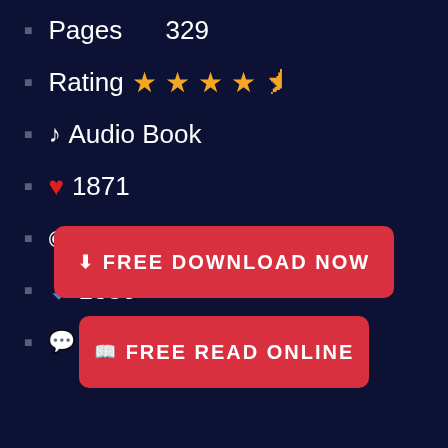Pages   329
Rating ★★★★½
♪ Audio Book
❤ 1871
👁 1997
⬇ 1386
💬 889
FREE DOWNLOAD NOW
FREE READ ONLINE